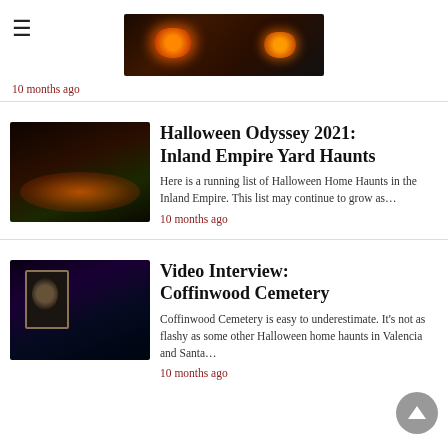[Figure (photo): Dark Halloween banner image with glowing jack-o-lanterns]
10 months ago
[Figure (photo): Nighttime Halloween yard haunt with lights, pumpkins, and decorations]
Halloween Odyssey 2021: Inland Empire Yard Haunts
Here is a running list of Halloween Home Haunts in the Inland Empire. This list may continue to grow as…
10 months ago
[Figure (photo): Coffinwood Cemetery haunt at night with blue lighting and skull decoration]
Video Interview: Coffinwood Cemetery
Coffinwood Cemetery is easy to underestimate. It's not as flashy as some other Halloween home haunts in Valencia and Santa…
10 months ago